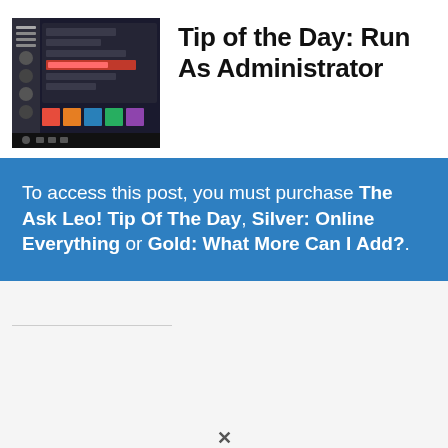[Figure (screenshot): Windows context menu screenshot showing 'Run as administrator' option highlighted in a dark-themed Start menu or right-click menu]
Tip of the Day: Run As Administrator
To access this post, you must purchase The Ask Leo! Tip Of The Day, Silver: Online Everything or Gold: What More Can I Add?.